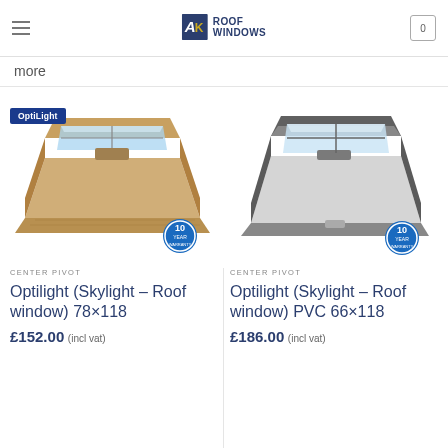AK ROOF WINDOWS
with the best prices guaranteed for excellent quality products? You've come to the ... read more
more
[Figure (photo): Optilight wooden center pivot roof window shown open at an angle, with OptiLight brand badge and 10 Year warranty badge]
[Figure (photo): PVC center pivot roof window shown open at an angle, with 10 Year warranty badge]
CENTER PIVOT
Optilight (Skylight – Roof window) 78×118
£152.00 (incl vat)
CENTER PIVOT
Optilight (Skylight – Roof window) PVC 66×118
£186.00 (incl vat)